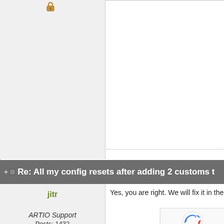[Figure (screenshot): Forum post area top: left column with lock icon on light gray background, right content column white with dotted separator at bottom]
Re: All my config resets after adding 2 customs t
jitr
OFFLINE
ARTIO Support
Posts: 1432
Yes, you are right. We will fix it in the n
ARTIO Support Team